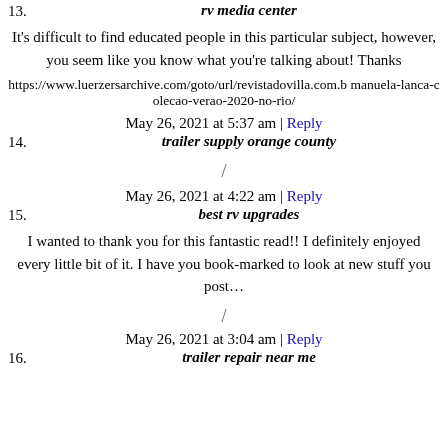13. rv media center
It’s difficult to find educated people in this particular subject, however, you seem like you know what you’re talking about! Thanks
https://www.luerzersarchive.com/goto/url/revistadovilla.com.b manuela-lanca-colecao-verao-2020-no-rio/
May 26, 2021 at 5:37 am | Reply
14. trailer supply orange county
/
May 26, 2021 at 4:22 am | Reply
15. best rv upgrades
I wanted to thank you for this fantastic read!! I definitely enjoyed every little bit of it. I have you book-marked to look at new stuff you post…
/
May 26, 2021 at 3:04 am | Reply
16. trailer repair near me